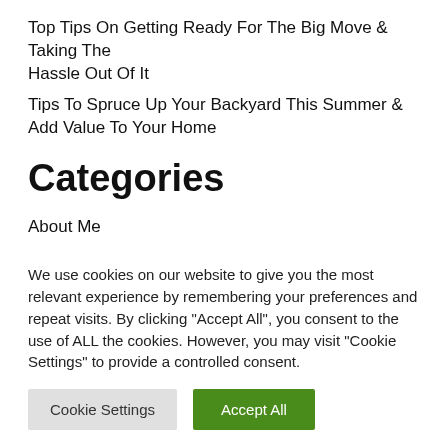Top Tips On Getting Ready For The Big Move & Taking The Hassle Out Of It
Tips To Spruce Up Your Backyard This Summer & Add Value To Your Home
Categories
About Me
Freebies
We use cookies on our website to give you the most relevant experience by remembering your preferences and repeat visits. By clicking "Accept All", you consent to the use of ALL the cookies. However, you may visit "Cookie Settings" to provide a controlled consent.